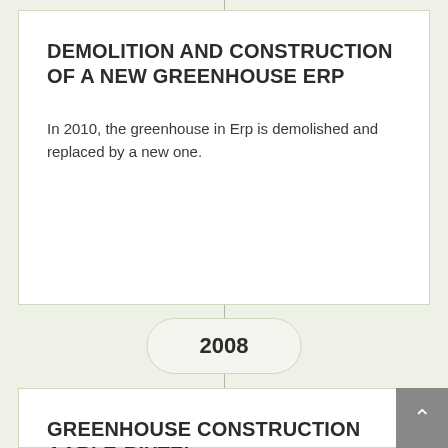DEMOLITION AND CONSTRUCTION OF A NEW GREENHOUSE ERP
In 2010, the greenhouse in Erp is demolished and replaced by a new one.
2008
GREENHOUSE CONSTRUCTION AARLE-RIXTEL